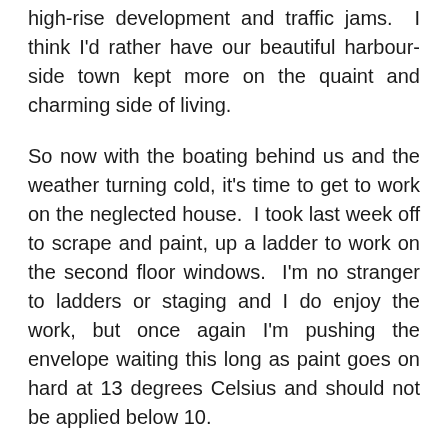high-rise development and traffic jams.  I think I'd rather have our beautiful harbour-side town kept more on the quaint and charming side of living.
So now with the boating behind us and the weather turning cold, it's time to get to work on the neglected house.  I took last week off to scrape and paint, up a ladder to work on the second floor windows.  I'm no stranger to ladders or staging and I do enjoy the work, but once again I'm pushing the envelope waiting this long as paint goes on hard at 13 degrees Celsius and should not be applied below 10.
Then I look at the sad gardens.  I didn't pull a weed all summer so the backyard is packed with dying matter, drying and turning the colours of autumn, but not pretty like the trees along the